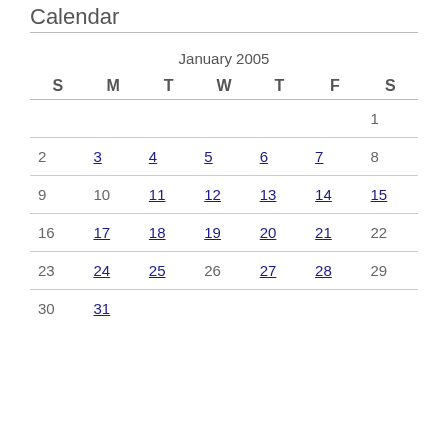Calendar
| S | M | T | W | T | F | S |
| --- | --- | --- | --- | --- | --- | --- |
|  |  |  |  |  |  | 1 |
| 2 | 3 | 4 | 5 | 6 | 7 | 8 |
| 9 | 10 | 11 | 12 | 13 | 14 | 15 |
| 16 | 17 | 18 | 19 | 20 | 21 | 22 |
| 23 | 24 | 25 | 26 | 27 | 28 | 29 |
| 30 | 31 |  |  |  |  |  |